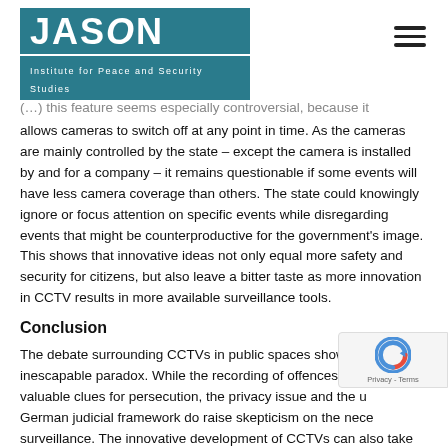JASON — Institute for Peace and Security Studies
(…) this feature seems especially controversial, because it allows cameras to switch off at any point in time. As the cameras are mainly controlled by the state – except the camera is installed by and for a company – it remains questionable if some events will have less camera coverage than others. The state could knowingly ignore or focus attention on specific events while disregarding events that might be counterproductive for the government's image. This shows that innovative ideas not only equal more safety and security for citizens, but also leave a bitter taste as more innovation in CCTV results in more available surveillance tools.
Conclusion
The debate surrounding CCTVs in public spaces showcases an inescapable paradox. While the recording of offences can offer valuable clues for persecution, the privacy issue and the unclear German judicial framework do raise skepticism on the necessity of surveillance. The innovative development of CCTVs can also take